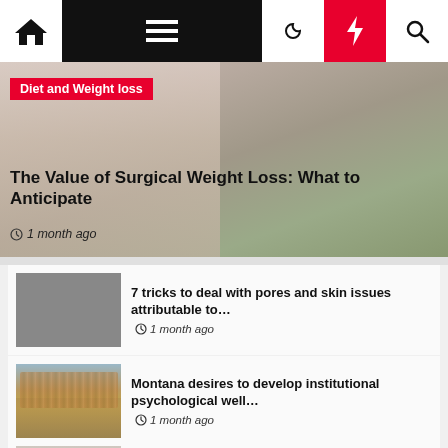Navigation bar with home, menu, moon, bolt, search icons
[Figure (photo): Hero image background showing person's midsection with outdoor blurred background, with category tag 'Diet and Weight loss']
The Value of Surgical Weight Loss: What to Anticipate
1 month ago
[Figure (photo): Gray placeholder thumbnail for pores and skin article]
7 tricks to deal with pores and skin issues attributable to...
1 month ago
[Figure (photo): Crowd of people on a busy street - Montana psychological wellness article thumbnail]
Montana desires to develop institutional psychological well...
1 month ago
[Figure (photo): People with masks - On-line Summer time Enrichment Program thumbnail]
On-line Summer time Enrichment Program from...